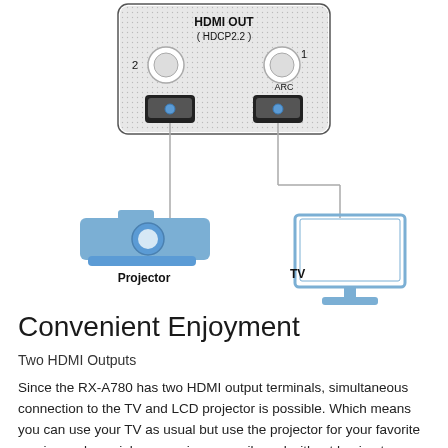[Figure (engineering-diagram): Diagram showing HDMI OUT (HDCP2.2) panel with two HDMI output ports (port 2 and port 1 labeled ARC), with lines connecting port 2 to a Projector icon and port 1 to a TV icon below.]
Convenient Enjoyment
Two HDMI Outputs
Since the RX-A780 has two HDMI output terminals, simultaneous connection to the TV and LCD projector is possible. Which means you can use your TV as usual but use the projector for your favorite movies and special programing — easily and without having to change any connections. The built-in HDMI functionality is of the latest